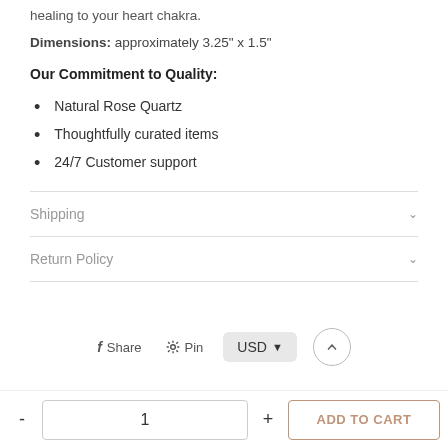healing to your heart chakra.
Dimensions: approximately 3.25" x 1.5"
Our Commitment to Quality:
Natural Rose Quartz
Thoughtfully curated items
24/7 Customer support
Shipping
Return Policy
Share  Pin  USD  [scroll top button]
- 1 + ADD TO CART